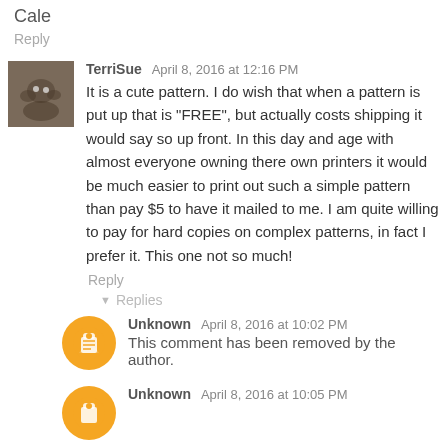Cale
Reply
TerriSue  April 8, 2016 at 12:16 PM
It is a cute pattern. I do wish that when a pattern is put up that is "FREE", but actually costs shipping it would say so up front. In this day and age with almost everyone owning there own printers it would be much easier to print out such a simple pattern than pay $5 to have it mailed to me. I am quite willing to pay for hard copies on complex patterns, in fact I prefer it. This one not so much!
Reply
Replies
Unknown  April 8, 2016 at 10:02 PM
This comment has been removed by the author.
Unknown  April 8, 2016 at 10:05 PM